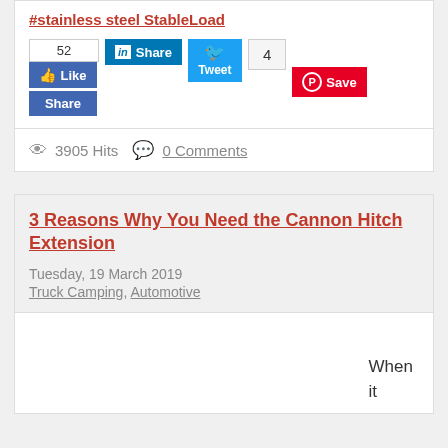#stainless steel StableLoad
[Figure (screenshot): Social sharing buttons: Facebook Like (52), LinkedIn Share, Twitter Tweet with bird icon, tweet count (4), Pinterest Save button]
3905 Hits   0 Comments
3 Reasons Why You Need the Cannon Hitch Extension
Tuesday, 19 March 2019
Truck Camping, Automotive
When it